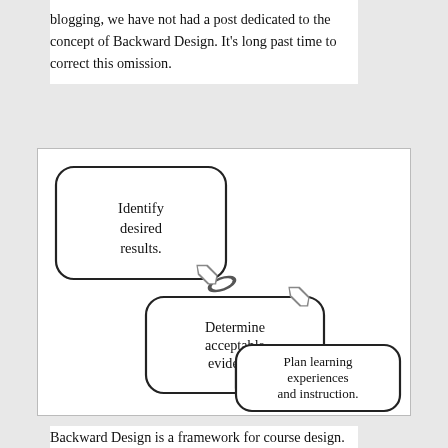blogging, we have not had a post dedicated to the concept of Backward Design. It's long past time to correct this omission.
[Figure (flowchart): Three-step Backward Design flowchart with cascading rounded rectangles connected by downward arrows: 1) Identify desired results. 2) Determine acceptable evidence. 3) Plan learning experiences and instruction.]
Backward Design is a framework for course design. With Backward Design an instructor starts course planning by identifying desired learning outcomes with the articulation